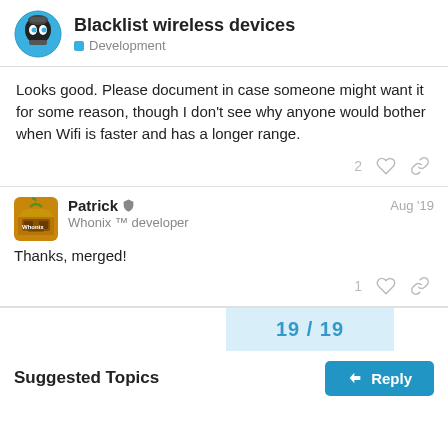Blacklist wireless devices — Development
Looks good. Please document in case someone might want it for some reason, though I don't see why anyone would bother when Wifi is faster and has a longer range.
Patrick — Whonix ™ developer — Aug '19
Thanks, merged!
19 / 19
Suggested Topics